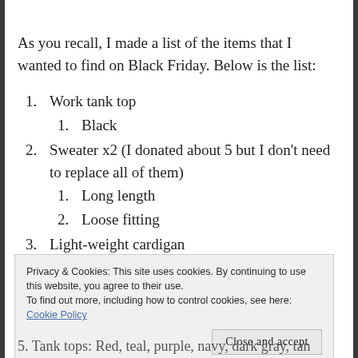As you recall, I made a list of the items that I wanted to find on Black Friday. Below is the list:
1. Work tank top
1. Black
2. Sweater x2 (I donated about 5 but I don't need to replace all of them)
1. Long length
2. Loose fitting
3. Light-weight cardigan
Privacy & Cookies: This site uses cookies. By continuing to use this website, you agree to their use.
To find out more, including how to control cookies, see here: Cookie Policy
5. Tank tops: Red, teal, purple, navy, dark gray, tan